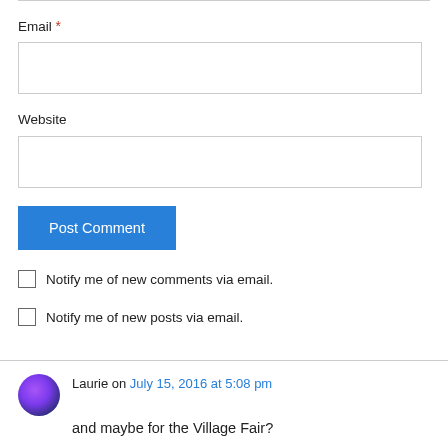Email *
Website
Post Comment
Notify me of new comments via email.
Notify me of new posts via email.
Laurie on July 15, 2016 at 5:08 pm
and maybe for the Village Fair?